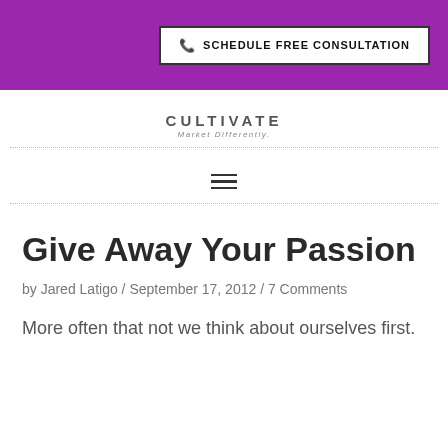SCHEDULE FREE CONSULTATION
[Figure (logo): Cultivate Market Differently logo]
Give Away Your Passion
by Jared Latigo / September 17, 2012 / 7 Comments
More often that not we think about ourselves first.